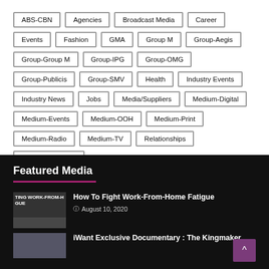ABS-CBN
Agencies
Broadcast Media
Career
Events
Fashion
GMA
Group M
Group-Aegis
Group-Group M
Group-IPG
Group-OMG
Group-Publicis
Group-SMV
Health
Industry Events
Industry News
Jobs
Media/Suppliers
Medium-Digital
Medium-Events
Medium-OOH
Medium-Print
Medium-Radio
Medium-TV
Relationships
Work From Home
Featured Media
How To Fight Work-From-Home Fatigue
August 10, 2020
iWant Exclusive Documentary : The Kingmaker